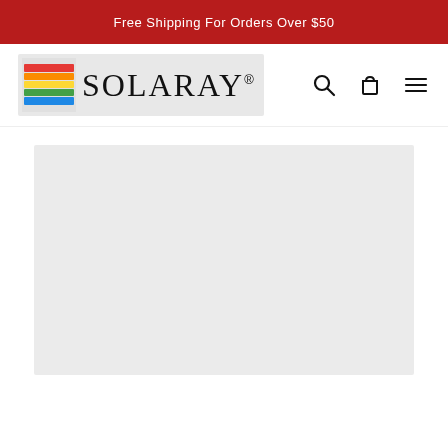Free Shipping For Orders Over $50
[Figure (logo): Solaray brand logo with rainbow stripe graphic and serif brand name text]
[Figure (other): Large light gray placeholder image area below the navigation bar]